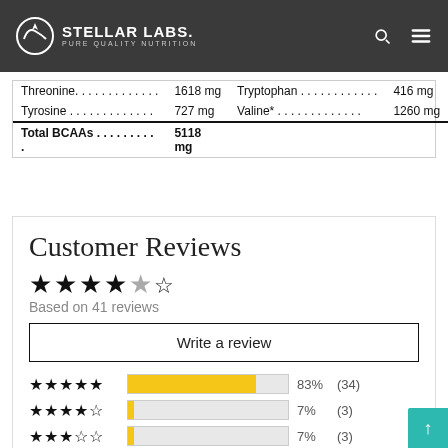STELLAR LABS. PURE QUALITY NUTRITION
| Threonine. . . . . . . . . . . . . | 1618 mg | Tryptophan . . . . . . . . . . . . | 416 mg |
| Tyrosine . . . . . . . . . . . . . | 727 mg | Valine* . . . . . . . . . . . . . | 1260 mg |
| Total BCAAs . . . . . . . . . . | 5118 mg |  |  |
Customer Reviews
★★★★☆ Based on 41 reviews
Write a review
★★★★★ 83% (34)
★★★★☆ 7% (3)
★★★☆☆ 7% (3)